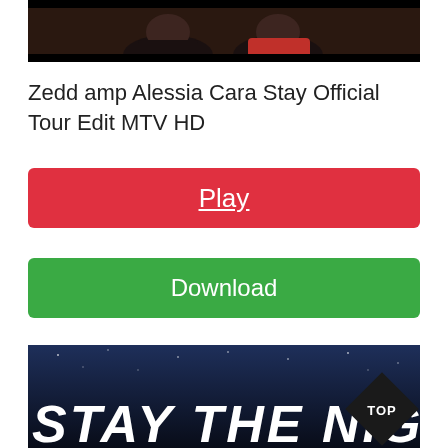[Figure (photo): Partial screenshot of two people sitting, dark background, bottom portion of a video thumbnail]
Zedd amp Alessia Cara Stay Official Tour Edit MTV HD
Play
Download
[Figure (photo): Dark blue starry night sky background with large white bold 'STAY THE NIGH' text (cut off) and a diamond-shaped 'TOP' badge in the lower right]